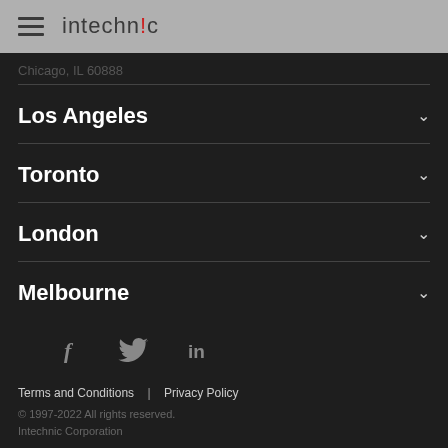intechnic
Chicago, IL 60888
Los Angeles
Toronto
London
Melbourne
[Figure (illustration): Social media icons: Facebook (f), Twitter bird, LinkedIn (in)]
Terms and Conditions  |  Privacy Policy
© 1997-2022 All rights reserved. Intechnic Corporation